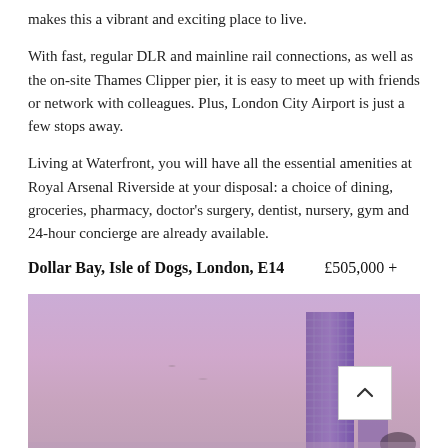makes this a vibrant and exciting place to live.
With fast, regular DLR and mainline rail connections, as well as the on-site Thames Clipper pier, it is easy to meet up with friends or network with colleagues. Plus, London City Airport is just a few stops away.
Living at Waterfront, you will have all the essential amenities at Royal Arsenal Riverside at your disposal: a choice of dining, groceries, pharmacy, doctor's surgery, dentist, nursery, gym and 24-hour concierge are already available.
Dollar Bay, Isle of Dogs, London, E14    £505,000 +
[Figure (photo): Tall modern skyscraper tower building photographed at dusk against a purple/pink sky, Isle of Dogs London]